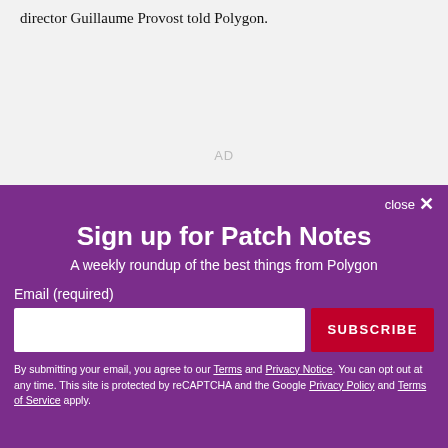director Guillaume Provost told Polygon.
AD
close ×
Sign up for Patch Notes
A weekly roundup of the best things from Polygon
Email (required)
SUBSCRIBE
By submitting your email, you agree to our Terms and Privacy Notice. You can opt out at any time. This site is protected by reCAPTCHA and the Google Privacy Policy and Terms of Service apply.